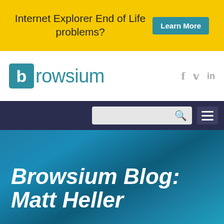Internet Explorer End of Life problems? Learn More
[Figure (logo): Browsium logo with teal square containing letter b, followed by 'browsium' in teal text, and social media icons (f, twitter bird, in) on the right]
[Figure (screenshot): Dark navy navigation bar with search box and hamburger menu icon on the right]
Browsium Blog: Matt Heller